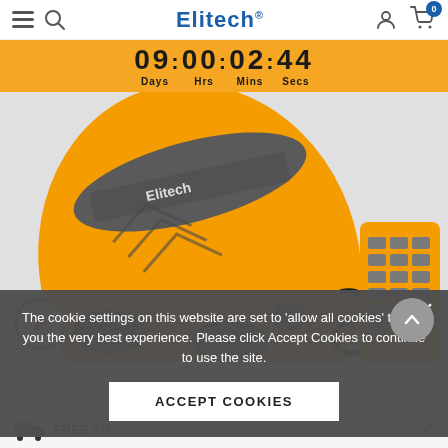Elitech® — navigation bar with hamburger menu, search, user account, and cart (0 items)
09 : 00 : 02 : 44  Days  Hrs  Mins  Secs
[Figure (photo): Orange and grey Elitech industrial device (ruggedized electronic tool) shown from the back with a coiled cable connecting to a handheld keypad remote. Orange casing with grey rubber grips and Elitech branding.]
The cookie settings on this website are set to 'allow all cookies' to give you the very best experience. Please click Accept Cookies to continue to use the site.
ACCEPT COOKIES
FREE SH...